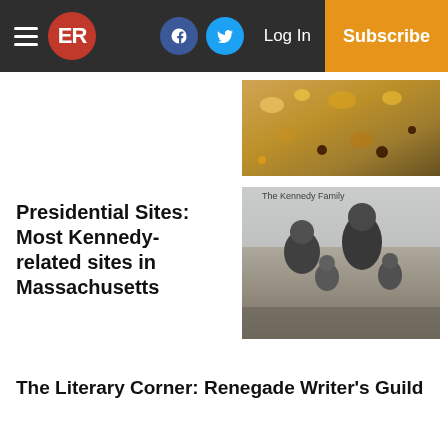ER | Log In | Subscribe
[Figure (photo): Close-up photo of food, appears to be a baked or crumbled dessert bar with nuts/toppings]
Presidential Sites: Most Kennedy-related sites in Massachusetts
[Figure (photo): Black and white photograph of a family group sitting outdoors]
The Literary Corner: Renegade Writer's Guild
The Philosopher's Physic